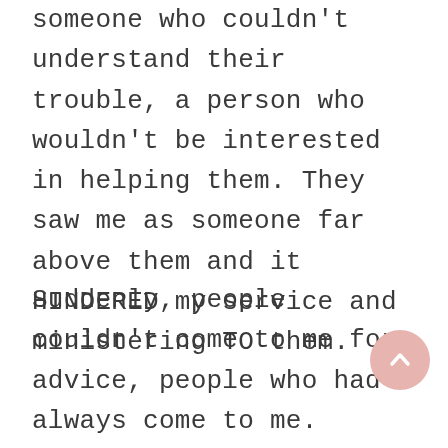someone who couldn't understand their trouble, a person who wouldn't be interested in helping them. They saw me as someone far above them and it HINDERED my service and ministering TO them.
Suddenly, people couldn't come to me for advice, people who had always come to me. Others were afraid to. Yet some felt I couldn't relate. None of that was true, I've always been down to earth and will remain that